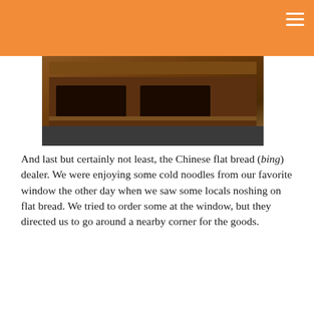[Figure (photo): Orange website header bar with hamburger menu icon in top-right corner]
[Figure (photo): Photo of a wooden Chinese food vendor cart/counter, dark toned image]
And last but certainly not least, the Chinese flat bread (bing) dealer. We were enjoying some cold noodles from our favorite window the other day when we saw some locals noshing on flat bread. We tried to order some at the window, but they directed us to go around a nearby corner for the goods.
[Figure (illustration): Decorative utensils/food icons illustration with text 'Also delicious on Gastronomy...' in grey, with X close button]
[Figure (logo): Gastronomy blog logo with wordmark 'Gastronomy' and 'BY CHEF CHAPLIN' below, with decorative wavy lines]
Suon Nuong Recipe - Vietna...
gastronomyblog.com
AddThis